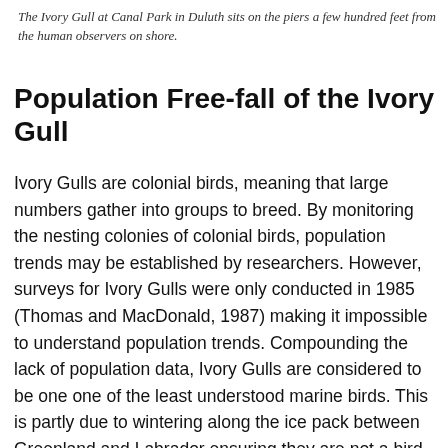The Ivory Gull at Canal Park in Duluth sits on the piers a few hundred feet from the human observers on shore.
Population Free-fall of the Ivory Gull
Ivory Gulls are colonial birds, meaning that large numbers gather into groups to breed. By monitoring the nesting colonies of colonial birds, population trends may be established by researchers. However, surveys for Ivory Gulls were only conducted in 1985 (Thomas and MacDonald, 1987) making it impossible to understand population trends. Compounding the lack of population data, Ivory Gulls are considered to be one one of the least understood marine birds. This is partly due to wintering along the ice pack between Greenland and Labrador ensuring they are not a bird which is in-sight of many people. However, indigenous knowledge has suggested declining populations since the 1980s (Mallory et al. 2003). In light of this, researchers flew surveys of known nesting islands as well as newly found Islands in 2002 and